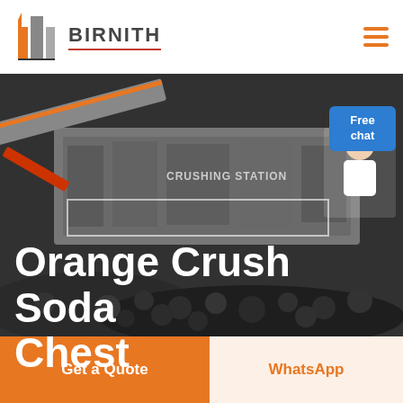BIRNITH
[Figure (photo): Industrial crushing station machinery with coal/rocks pile in the foreground and a female customer service representative icon in the top-right corner with a blue 'Free chat' bubble]
Orange Crush Soda Chest
Free chat
Get a Quote
WhatsApp